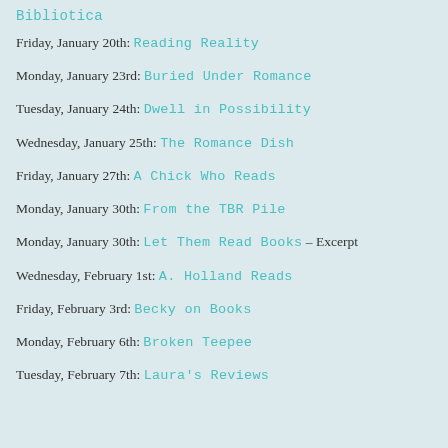Bibliotica
Friday, January 20th: Reading Reality
Monday, January 23rd: Buried Under Romance
Tuesday, January 24th: Dwell in Possibility
Wednesday, January 25th: The Romance Dish
Friday, January 27th: A Chick Who Reads
Monday, January 30th: From the TBR Pile
Monday, January 30th: Let Them Read Books – Excerpt
Wednesday, February 1st: A. Holland Reads
Friday, February 3rd: Becky on Books
Monday, February 6th: Broken Teepee
Tuesday, February 7th: Laura's Reviews